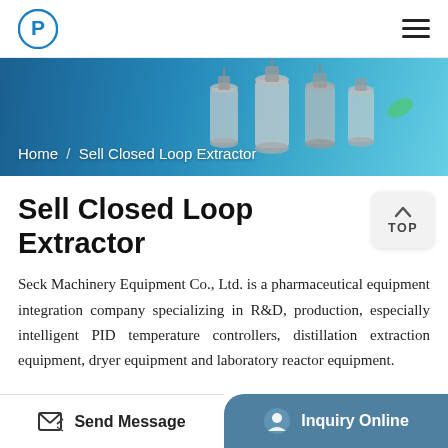Logo and navigation menu
[Figure (photo): Hero banner showing stainless steel closed loop extractor equipment against a blue background, with breadcrumb navigation overlay reading 'Home / Sell Closed Loop Extractor']
Sell Closed Loop Extractor
Seck Machinery Equipment Co., Ltd. is a pharmaceutical equipment integration company specializing in R&D, production, especially intelligent PID temperature controllers, distillation extraction equipment, dryer equipment and laboratory reactor equipment.
Send Message    Inquiry Online